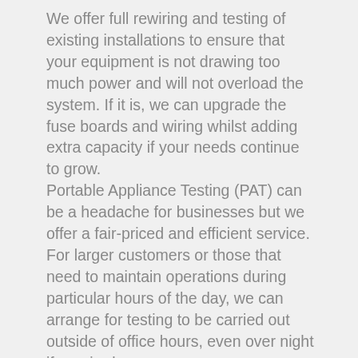We offer full rewiring and testing of existing installations to ensure that your equipment is not drawing too much power and will not overload the system. If it is, we can upgrade the fuse boards and wiring whilst adding extra capacity if your needs continue to grow. Portable Appliance Testing (PAT) can be a headache for businesses but we offer a fair-priced and efficient service. For larger customers or those that need to maintain operations during particular hours of the day, we can arrange for testing to be carried out outside of office hours, even over night if required.
For businesses or shops with high value stock on site, we can help with your security needs. This includes installing CCTV systems with recording capability. We can also install and set up remote access systems so that you can monitor your